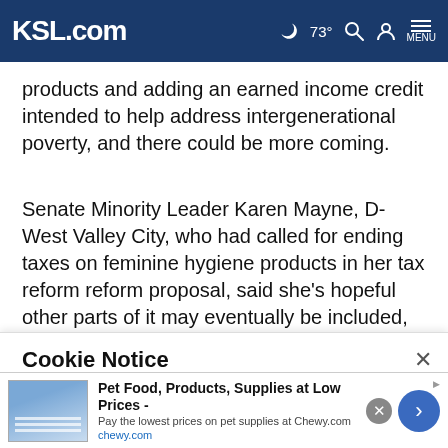KSL.com  73°  MENU
products and adding an earned income credit intended to help address intergenerational poverty, and there could be more coming.
Senate Minority Leader Karen Mayne, D-West Valley City, who had called for ending taxes on feminine hygiene products in her tax reform reform proposal, said she's hopeful other parts of it may eventually be included, too,
Cookie Notice
We use cookies to improve your experience, analyze site traffic, and to personalize content and ads. By continuing to use our site, you consent to our use of cookies. Please visit our Terms of Use and Privacy Policy for more information.
Pet Food, Products, Supplies at Low Prices - Pay the lowest prices on pet supplies at Chewy.com chewy.com